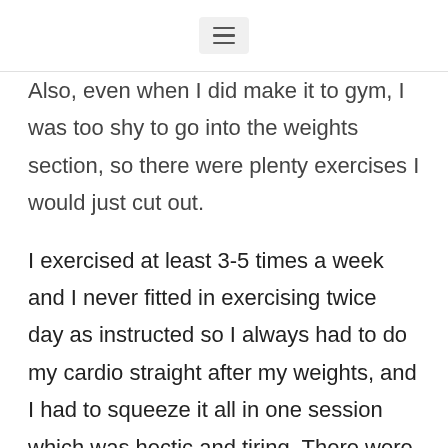≡
Also, even when I did make it to gym, I was too shy to go into the weights section, so there were plenty exercises I would just cut out.
I exercised at least 3-5 times a week and I never fitted in exercising twice  day as instructed so I always had to do my cardio straight after my weights, and I had to squeeze it all in one session which was hectic and tiring. There were plenty times I missed workouts or not completed them.